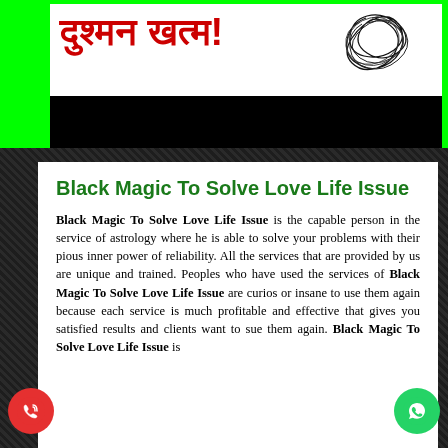[Figure (illustration): Green banner with Hindi text in red 'दुश्मन खत्म!' and tangled black thread image, with a black bar below]
Black Magic To Solve Love Life Issue
Black Magic To Solve Love Life Issue is the capable person in the service of astrology where he is able to solve your problems with their pious inner power of reliability. All the services that are provided by us are unique and trained. Peoples who have used the services of Black Magic To Solve Love Life Issue are curios or insane to use them again because each service is much profitable and effective that gives you satisfied results and clients want to sue them again. Black Magic To Solve Love Life Issue is